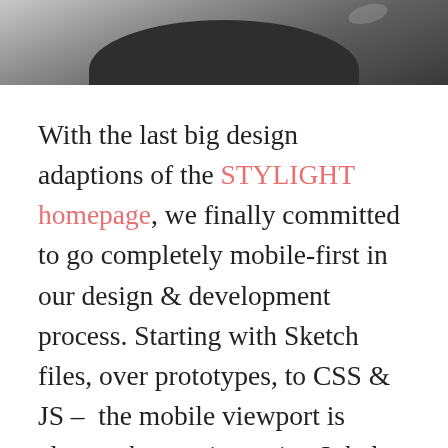[Figure (photo): Partial photo of a dark surface with rounded shape visible at top of page, appears to be a close-up of a dark object against a grey background]
With the last big design adaptions of the STYLIGHT homepage, we finally committed to go completely mobile-first in our design & development process. Starting with Sketch files, over prototypes, to CSS & JS – the mobile viewport is always the starting point. It helps to focus on the core of your products and delivers more benefits! Nevertheless, it also introduces some issues if you want to support a good experience on legacy